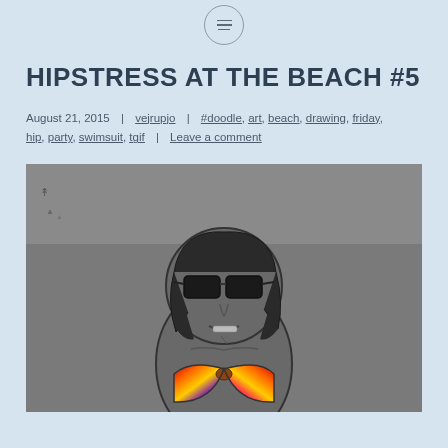menu icon circle
HIPSTRESS AT THE BEACH #5
August 21, 2015  |  vejrupjo  |  #doodle, art, beach, drawing, friday, hip, party, swimsuit, tgif  |  Leave a comment
[Figure (illustration): Hand-drawn doodle illustration of a woman with short dark hair, wearing sunglasses and a colorful (rainbow/sunset colored) bikini top, depicted in a simple cartoon style on a gray background with small bird/wave marks in the upper left.]